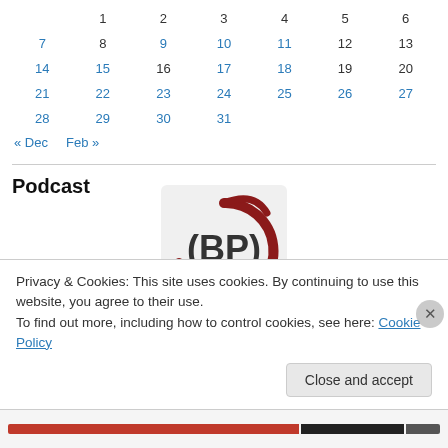|  |  |  |  |  |  |  |
| --- | --- | --- | --- | --- | --- | --- |
|  | 1 | 2 | 3 | 4 | 5 | 6 |
| 7 | 8 | 9 | 10 | 11 | 12 | 13 |
| 14 | 15 | 16 | 17 | 18 | 19 | 20 |
| 21 | 22 | 23 | 24 | 25 | 26 | 27 |
| 28 | 29 | 30 | 31 |  |  |  |
« Dec   Feb »
Podcast
[Figure (logo): BP podcast logo — bold red circular swoosh around BP text in dark gray]
Privacy & Cookies: This site uses cookies. By continuing to use this website, you agree to their use.
To find out more, including how to control cookies, see here: Cookie Policy
Close and accept